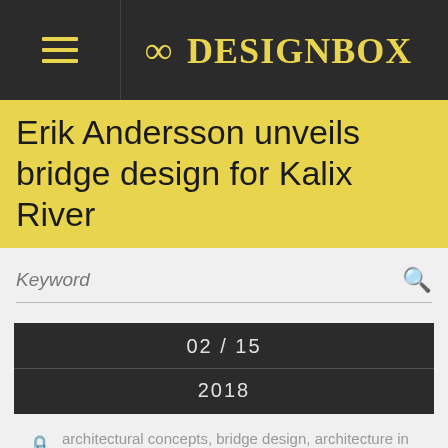8 DESIGNBOX
Erik Andersson unveils bridge design for Kalix River
Keyword
02 / 15
2018
architectural concepts, bridge design, architecture in sweden
The Swedish Traffic Administration has commissioned Erik Andersson Architects to design a new bridge